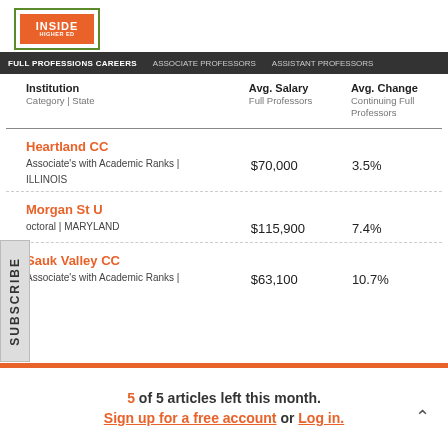Inside Higher Ed - Full Professions Careers
| Institution
Category | State | Avg. Salary
Full Professors | Avg. Change
Continuing Full Professors |  |
| --- | --- | --- | --- |
| Heartland CC
Associate's with Academic Ranks | ILLINOIS | $70,000 | 3.5% |  |
| Morgan St U
Doctoral | MARYLAND | $115,900 | 7.4% |  |
| Sauk Valley CC
Associate's with Academic Ranks | | $63,100 | 10.7% |  |
5 of 5 articles left this month. Sign up for a free account or Log in.